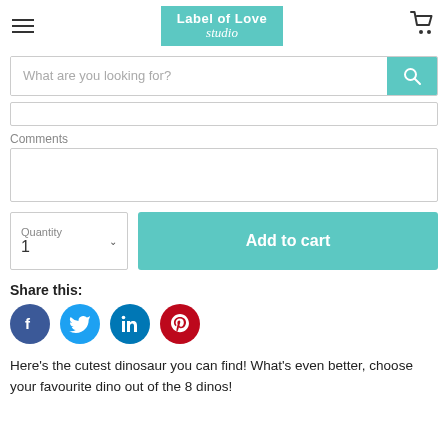[Figure (screenshot): Label of Love Studio website header with hamburger menu, teal logo box, and shopping cart icon]
What are you looking for?
Comments
Quantity 1
Add to cart
Share this:
[Figure (infographic): Social media icon row: Facebook (blue), Twitter (light blue), LinkedIn (dark blue), Pinterest (red)]
Here's the cutest dinosaur you can find! What's even better, choose your favourite dino out of the 8 dinos!